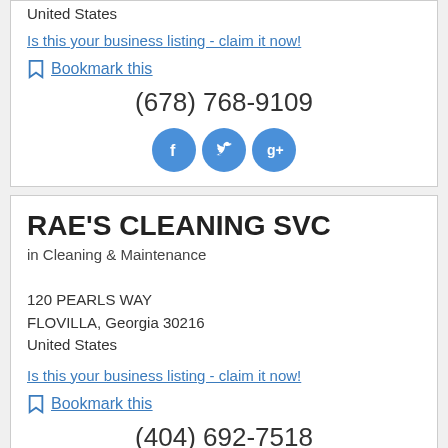United States
Is this your business listing - claim it now!
Bookmark this
(678) 768-9109
[Figure (other): Social media icons: Facebook, Twitter, Google+]
RAE'S CLEANING SVC
in Cleaning & Maintenance
120 PEARLS WAY
FLOVILLA, Georgia 30216
United States
Is this your business listing - claim it now!
Bookmark this
(404) 692-7518
[Figure (other): Social media icons: Facebook, Twitter, Google+ (partially visible)]